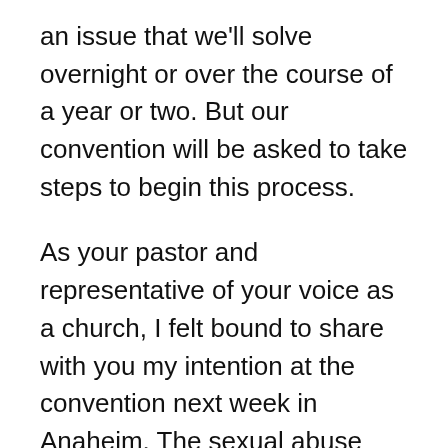an issue that we'll solve overnight or over the course of a year or two. But our convention will be asked to take steps to begin this process.
As your pastor and representative of your voice as a church, I felt bound to share with you my intention at the convention next week in Anaheim. The sexual abuse task force that was created and commissioned last year will make two specific recommendations to the messengers next week.
1. They are recommending that messengers approve the creation of an Abuse Reform Implementation Task Force (ARITF). This task force